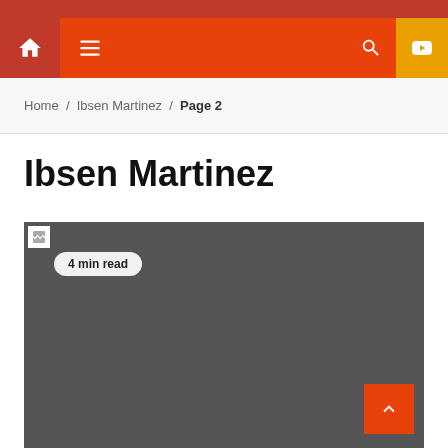[Figure (screenshot): Website navigation bar with home icon, hamburger menu, search icon, and YouTube icon on orange background]
Home / Ibsen Martinez / Page 2
Ibsen Martinez
[Figure (photo): Dark gray image placeholder with broken image icon, '4 min read' badge, and back-to-top orange button with chevron up arrow]